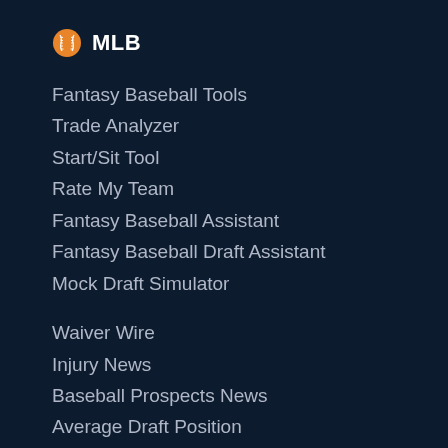MLB
Fantasy Baseball Tools
Trade Analyzer
Start/Sit Tool
Rate My Team
Fantasy Baseball Assistant
Fantasy Baseball Draft Assistant
Mock Draft Simulator
Waiver Wire
Injury News
Baseball Prospects News
Average Draft Position
Offensive Rankings
Trade Value Charts
Daily Projections